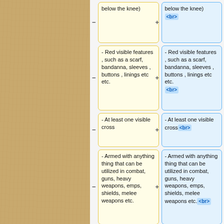| Left (yellow) | Right (blue) |
| --- | --- |
| below the knee) | below the knee)
<br> |
| - Red visible features , such as a scarf, bandanna, sleeves , buttons , linings etc etc. | - Red visible features , such as a scarf, bandanna, sleeves , buttons , linings etc etc.
<br> |
| - At least one visible cross | - At least one visible cross<br> |
| - Armed with anything thing that can be utilized in combat, guns, heavy weapons, emps, shields, melee weapons etc. | - Armed with anything thing that can be utilized in combat, guns, heavy weapons, emps, shields, melee weapons etc.<br> |